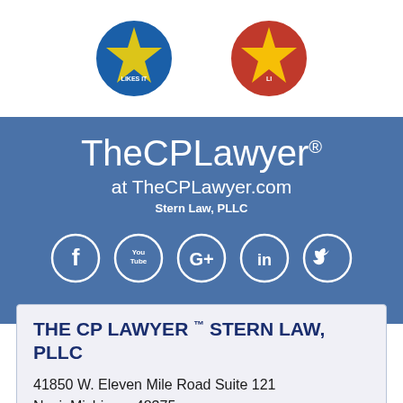[Figure (logo): Two circular award/recognition badges partially visible at top of page]
TheCPLawyer® at TheCPLawyer.com
Stern Law, PLLC
[Figure (infographic): Social media icons in white circles: Facebook, YouTube, Google+, LinkedIn, Twitter]
THE CP LAWYER ™ STERN LAW, PLLC
41850 W. Eleven Mile Road Suite 121
Novi, Michigan, 48375